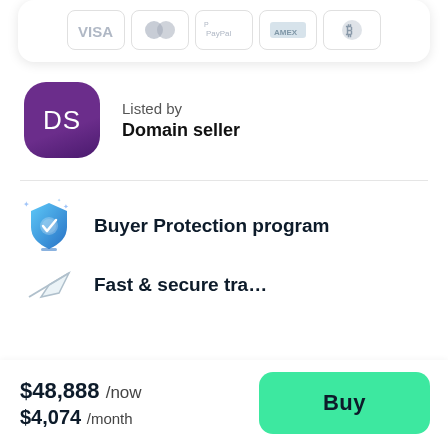[Figure (other): Payment method icons: VISA, Mastercard, PayPal, American Express, Bitcoin]
Listed by
Domain seller
Buyer Protection program
Fast transfer
$48,888 /now
$4,074 /month
Buy